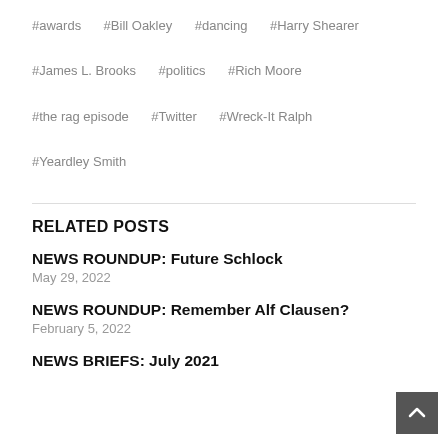#awards
#Bill Oakley
#dancing
#Harry Shearer
#James L. Brooks
#politics
#Rich Moore
#the rag episode
#Twitter
#Wreck-It Ralph
#Yeardley Smith
RELATED POSTS
NEWS ROUNDUP: Future Schlock
May 29, 2022
NEWS ROUNDUP: Remember Alf Clausen?
February 5, 2022
NEWS BRIEFS: July 2021